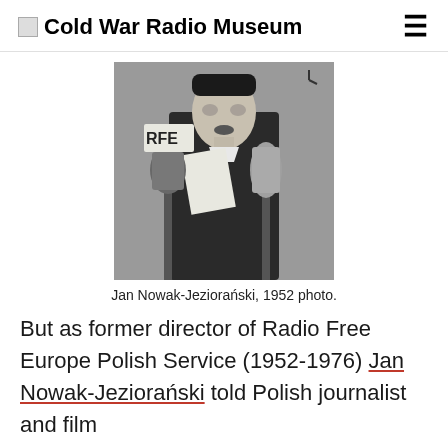Cold War Radio Museum
[Figure (photo): Black and white photo of Jan Nowak-Jeziorański standing at a podium with two RFE microphones, holding papers, 1952]
Jan Nowak-Jeziorański, 1952 photo.
But as former director of Radio Free Europe Polish Service (1952-1976) Jan Nowak-Jeziorański told Polish journalist and film